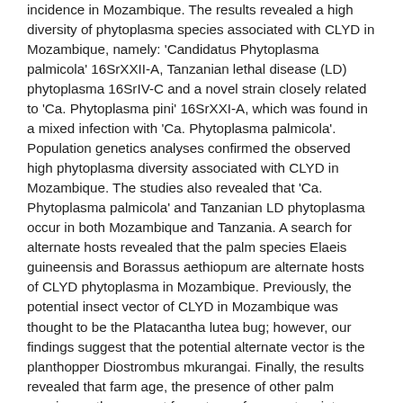incidence in Mozambique. The results revealed a high diversity of phytoplasma species associated with CLYD in Mozambique, namely: 'Candidatus Phytoplasma palmicola' 16SrXXII-A, Tanzanian lethal disease (LD) phytoplasma 16SrIV-C and a novel strain closely related to 'Ca. Phytoplasma pini' 16SrXXI-A, which was found in a mixed infection with 'Ca. Phytoplasma palmicola'. Population genetics analyses confirmed the observed high phytoplasma diversity associated with CLYD in Mozambique. The studies also revealed that 'Ca. Phytoplasma palmicola' and Tanzanian LD phytoplasma occur in both Mozambique and Tanzania. A search for alternate hosts revealed that the palm species Elaeis guineensis and Borassus aethiopum are alternate hosts of CLYD phytoplasma in Mozambique. Previously, the potential insect vector of CLYD in Mozambique was thought to be the Platacantha lutea bug; however, our findings suggest that the potential alternate vector is the planthopper Diostrombus mkurangai. Finally, the results revealed that farm age, the presence of other palm species on the coconut farm, type of coconut variety grown, root cut practices and intercropping all had a significant (P<0.05) effect on CLYD incidence. This research study has increased our knowledge of CLYD epidemiology in Mozambique, which should help with the